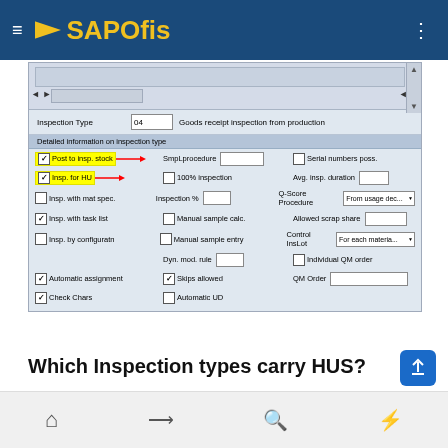SAPOfis
[Figure (screenshot): SAP ERP screenshot showing Inspection Type 04 - Goods receipt inspection from production, with Detailed information on inspection type panel. Highlighted fields: 'Post to insp. stock' (yellow, checked, with red arrow) and 'Insp. for HU' (yellow, checked, with red arrow). Other fields: SmpLprocedure, Serial numbers poss., 100% inspection, Avg. insp. duration, Insp. with mat spec., Inspection %, Q-Score Procedure (From usage dec...), Insp. with task list, Manual sample calc., Allowed scrap share, Insp. by configuratn, Manual sample entry, Control InsLot (For each materia...), Dyn. mod. rule, Individual QM order, Automatic assignment, Skips allowed, QM Order, Check Chars, Automatic UD, Multiple Specs]
Which Inspection types carry HUS?
Navigation bar with home, login, search, lightning icons